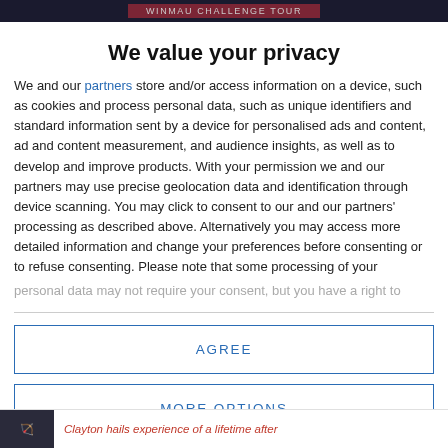WINMAU CHALLENGE TOUR
We value your privacy
We and our partners store and/or access information on a device, such as cookies and process personal data, such as unique identifiers and standard information sent by a device for personalised ads and content, ad and content measurement, and audience insights, as well as to develop and improve products. With your permission we and our partners may use precise geolocation data and identification through device scanning. You may click to consent to our and our partners' processing as described above. Alternatively you may access more detailed information and change your preferences before consenting or to refuse consenting. Please note that some processing of your personal data may not require your consent, but you have a right to
AGREE
MORE OPTIONS
Clayton hails experience of a lifetime after